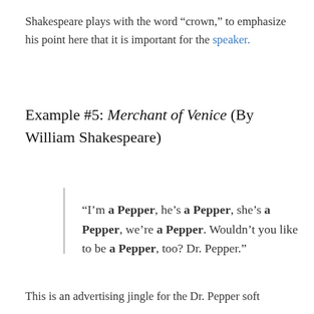Shakespeare plays with the word “crown,” to emphasize his point here that it is important for the speaker.
Example #5: Merchant of Venice (By William Shakespeare)
“I’m a Pepper, he’s a Pepper, she’s a Pepper, we’re a Pepper. Wouldn’t you like to be a Pepper, too? Dr. Pepper.”
This is an advertising jingle for the Dr. Pepper soft